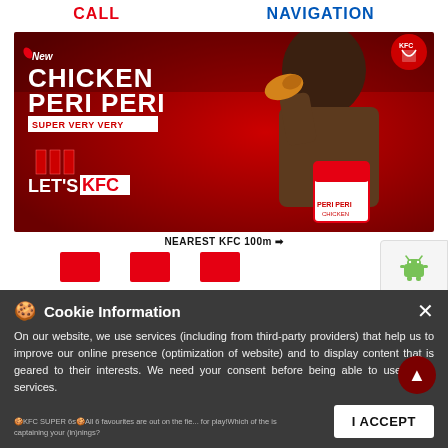CALL | NAVIGATION
[Figure (photo): KFC advertisement banner showing a man eating Chicken Peri Peri with text: New CHICKEN PERI PERI SUPER VERY VERY, LET'S KFC, NEAREST KFC 100m]
NEAREST KFC 100m →
[Figure (other): Android and Apple app store download icons on grey panel]
Cookie Information × On our website, we use services (including from third-party providers) that help us to improve our online presence (optimization of website) and to display content that is geared to their interests. We need your consent before being able to use these services.
🍪KFC SUPER 6s🍪All 6 favourites are out on the field for play!Which of the is captaining your (in)nings?